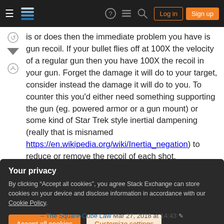Stack Exchange navigation bar with Log in and Sign up buttons
is or does then the immediate problem you have is gun recoil. If your bullet flies off at 100X the velocity of a regular gun then you have 100X the recoil in your gun. Forget the damage it will do to your target, consider instead the damage it will do to you. To counter this you'd either need something supporting the gun (eg. powered armor or a gun mount) or some kind of Star Trek style inertial dampening (really that is misnamed https://en.wikipedia.org/wiki/Inertia_negation) to reduce or remove the recoil of each shot.
Your privacy
By clicking “Accept all cookies”, you agree Stack Exchange can store cookies on your device and disclose information in accordance with our Cookie Policy.
Accept all cookies  Customize settings
– The Square-Cube Law Mar 27, 2018 at 14:43